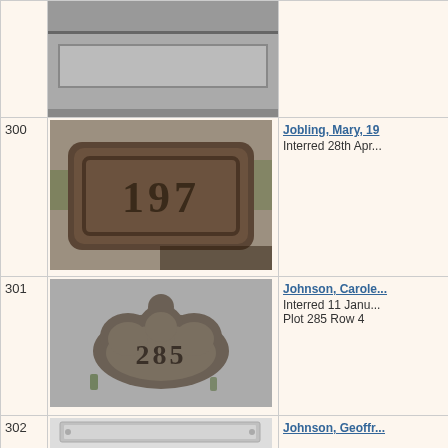| # | Image | Info |
| --- | --- | --- |
|  | grave marker photo |  |
| 300 | grave marker 197 photo | Jobling, Mary, 19...
Interred 28th Apr... |
| 301 | grave marker 285 photo | Johnson, Carole...
Interred 11 Janu...
Plot 285 Row 4 |
| 302 | name plate photos | Johnson, Geoffr... |